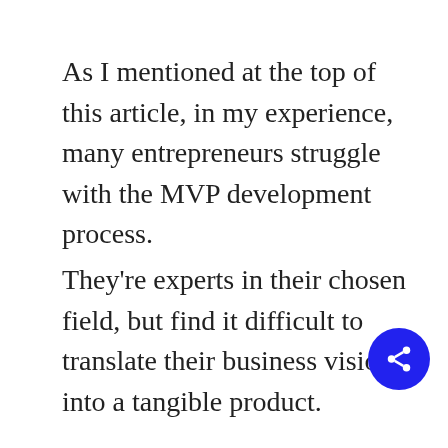As I mentioned at the top of this article, in my experience, many entrepreneurs struggle with the MVP development process.
They're experts in their chosen field, but find it difficult to translate their business vision into a tangible product.
That's why, at Altar, we start every project by focusing on the product,